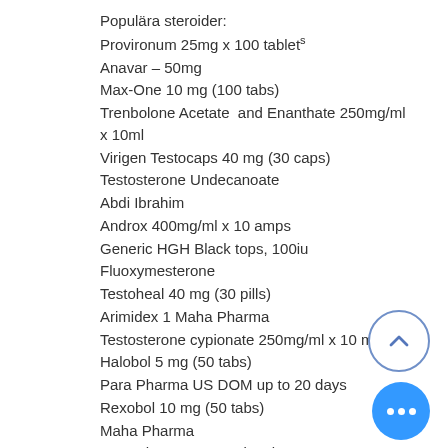Populära steroider:
Provironum 25mg x 100 tablets
Anavar – 50mg
Max-One 10 mg (100 tabs)
Trenbolone Acetate  and Enanthate 250mg/ml x 10ml
Virigen Testocaps 40 mg (30 caps)
Testosterone Undecanoate
Abdi Ibrahim
Androx 400mg/ml x 10 amps
Generic HGH Black tops, 100iu
Fluoxymesterone
Testoheal 40 mg (30 pills)
Arimidex 1 Maha Pharma
Testosterone cypionate 250mg/ml x 10 ml
Halobol 5 mg (50 tabs)
Para Pharma US DOM up to 20 days
Rexobol 10 mg (50 tabs)
Maha Pharma
Para Pharma International
Testosterone Enanthate 100mg